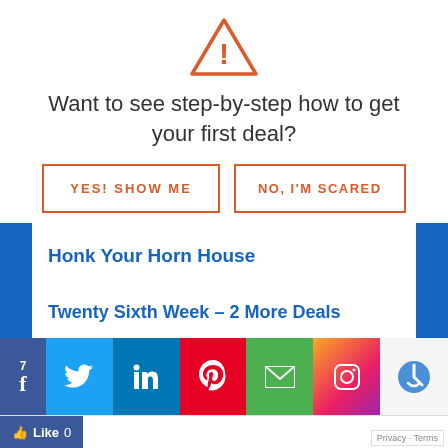[Figure (illustration): Orange warning triangle icon with exclamation mark]
Want to see step-by-step how to get your first deal?
YES! SHOW ME
NO, I'M SCARED
Honk Your Horn House
Twenty Sixth Week – 2 More Deals
[Figure (infographic): Social share bar with Facebook (7 likes), Twitter, LinkedIn, Pinterest, Email, Instagram icons, and reCAPTCHA badge]
Like 0
Privacy · Terms